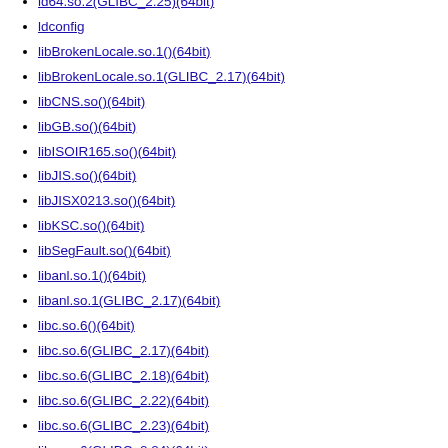ld64.so.2(GLIBC_2.25)(64bit)
ldconfig
libBrokenLocale.so.1()(64bit)
libBrokenLocale.so.1(GLIBC_2.17)(64bit)
libCNS.so()(64bit)
libGB.so()(64bit)
libISOIR165.so()(64bit)
libJIS.so()(64bit)
libJISX0213.so()(64bit)
libKSC.so()(64bit)
libSegFault.so()(64bit)
libanl.so.1()(64bit)
libanl.so.1(GLIBC_2.17)(64bit)
libc.so.6()(64bit)
libc.so.6(GLIBC_2.17)(64bit)
libc.so.6(GLIBC_2.18)(64bit)
libc.so.6(GLIBC_2.22)(64bit)
libc.so.6(GLIBC_2.23)(64bit)
libc.so.6(GLIBC_2.24)(64bit)
libc.so.6(GLIBC_2.25)(64bit)
libc.so.6(GLIBC_2.26)(64bit)
libc.so.6(GLIBC_2.27)(64bit)
libc.so.6(GLIBC_2.28)(64bit)
libc.so.6(GLIBC_2.29)(64bit)
libc.so.6(GLIBC_2.30)(64bit)
libc.so.6(GLIBC_2.32)(64bit)